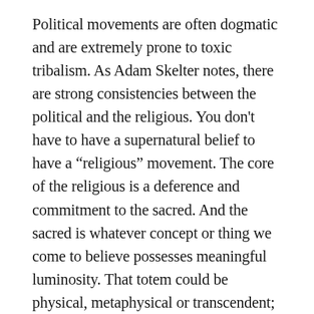Political movements are often dogmatic and are extremely prone to toxic tribalism. As Adam Skelter notes, there are strong consistencies between the political and the religious. You don't have to have a supernatural belief to have a “religious” movement. The core of the religious is a deference and commitment to the sacred. And the sacred is whatever concept or thing we come to believe possesses meaningful luminosity. That totem could be physical, metaphysical or transcendent; perhaps even a rational, empirical abstraction. It might be a book, an animal, a person. A people. Stories and even data sets can assume spiritual significance, such as those evidencing systemic inequality. It doesn’t matter whether the math